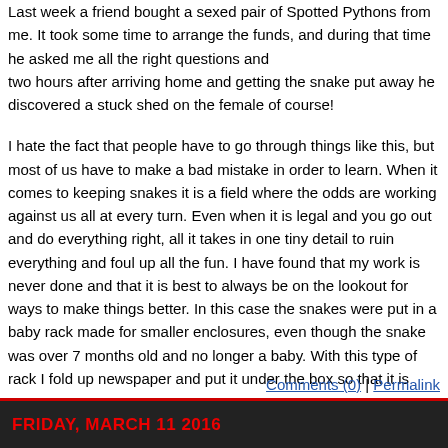Last week a friend bought a sexed pair of Spotted Pythons from me. It took some time to arrange the funds, and during that time he asked me all the right questions and was fully prepared. But two hours after arriving home and getting the snake put away he discovered a stuck shed on the female of course!

I hate the fact that people have to go through things like this, but most of us have to make a bad mistake in order to learn. When it comes to keeping snakes it is a field where the odds are working against us all at every turn. Even when it is legal and you go out and do everything right, all it takes in one tiny detail to ruin everything and foul up all the fun. I have found that my work is never done and that it is best to always be on the lookout for ways to make things better. In this case the snakes were put in a baby rack made for smaller enclosures, even though the snake was over 7 months old and no longer a baby. With this type of rack I fold up newspaper and put it under the box so that it is raised up to the heat strip at the top of the rack. Of course, that restricts air flow so I have to drill more holes to be sure the snake can breathe! It seems that every adjustment requires an additional one. The work never ends, and if you think your work is done I bet something will go wrong while you are relaxing thinking that all is well! Be careful out there fellow snake keepers.
[Figure (other): Social sharing icons: Facebook (blue), Twitter (light blue), Email (grey), Tumblr (dark blue)]
Comments (0) | Permalink
FRIDAY, MARCH 11 2016